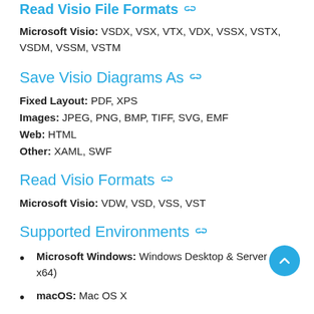Read Visio File Formats
Microsoft Visio: VSDX, VSX, VTX, VDX, VSSX, VSTX, VSDM, VSSM, VSTM
Save Visio Diagrams As
Fixed Layout: PDF, XPS
Images: JPEG, PNG, BMP, TIFF, SVG, EMF
Web: HTML
Other: XAML, SWF
Read Visio Formats
Microsoft Visio: VDW, VSD, VSS, VST
Supported Environments
Microsoft Windows: Windows Desktop & Server (x86, x64)
macOS: Mac OS X
Linux: Ubuntu, OpenSUSE, CentOS, and others